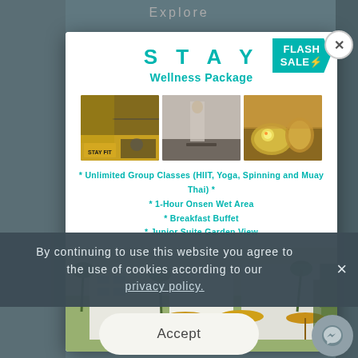Explore
[Figure (screenshot): Hotel wellness package promotional modal popup showing: STAY Wellness Package with FLASH SALE badge, three photos (gym with yellow branding, spa/onsen area, breakfast food), bullet point list of package inclusions, and hotel exterior photo with palm trees and yellow umbrellas]
* Unlimited Group Classes (HIIT, Yoga, Spinning and Muay Thai) *
* 1-Hour Onsen Wet Area
* Breakfast Buffet
* Junior Suite Garden View
By continuing to use this website you agree to the use of cookies according to our privacy policy.
Accept